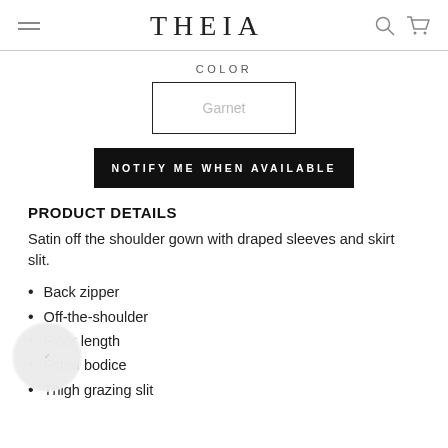THEIA
COLOR
Garnet
NOTIFY ME WHEN AVAILABLE
PRODUCT DETAILS
Satin off the shoulder gown with draped sleeves and skirt slit.
Back zipper
Off-the-shoulder
Floor length
Fitted bodice
Thigh grazing slit